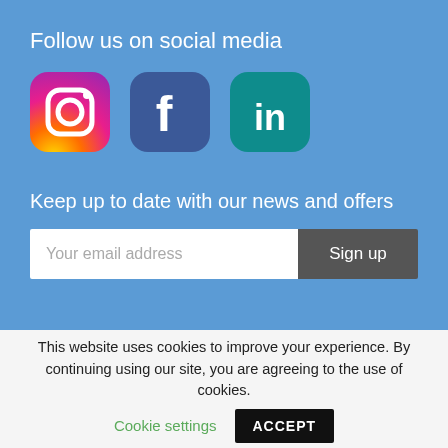Follow us on social media
[Figure (illustration): Three social media icons: Instagram (colorful gradient), Facebook (blue with 'f'), LinkedIn (teal with 'in')]
Keep up to date with our news and offers
[Figure (screenshot): Email input field with placeholder 'Your email address' and a dark 'Sign up' button]
This website uses cookies to improve your experience. By continuing using our site, you are agreeing to the use of cookies.
Cookie settings   ACCEPT